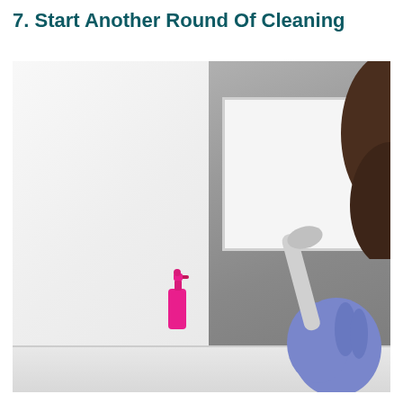7. Start Another Round Of Cleaning
[Figure (photo): A person wearing blue latex gloves holding a shower head/scrubbing brush, with a pink spray bottle sitting on the edge of a bathtub. A bathroom mirror is visible on the gray tile wall in the background. The person's dark brown bob haircut is partially visible on the right side.]